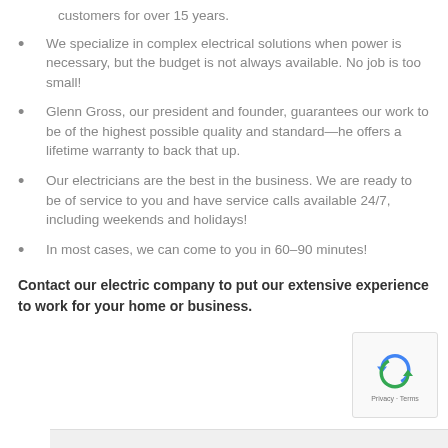customers for over 15 years.
We specialize in complex electrical solutions when power is necessary, but the budget is not always available. No job is too small!
Glenn Gross, our president and founder, guarantees our work to be of the highest possible quality and standard—he offers a lifetime warranty to back that up.
Our electricians are the best in the business. We are ready to be of service to you and have service calls available 24/7, including weekends and holidays!
In most cases, we can come to you in 60–90 minutes!
Contact our electric company to put our extensive experience to work for your home or business.